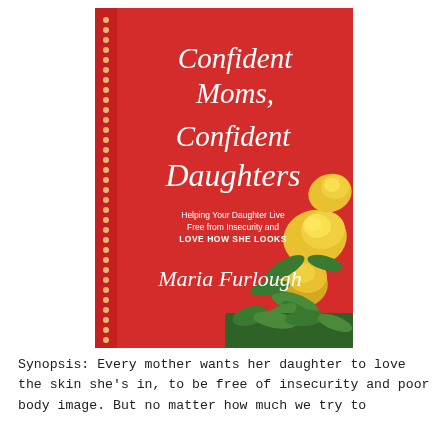[Figure (illustration): Book cover of 'Confident Moms, Confident Daughters' by Maria Furlough. Red background with white script text, subtitle 'Helping Your Daughter Live Free from Insecurity and LOVE HOW SHE LOOKS', yellow roses in the lower right, dotted border on the left side.]
Synopsis: Every mother wants her daughter to love the skin she's in, to be free of insecurity and poor body image. But no matter how much we try to